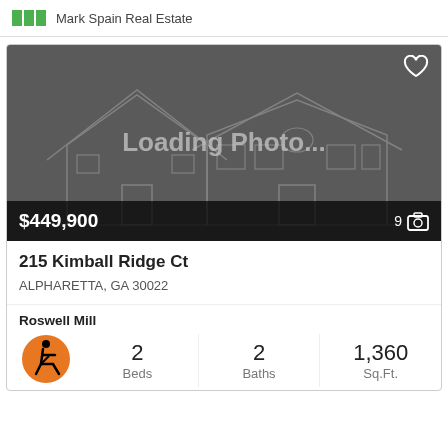Mark Spain Real Estate
[Figure (screenshot): Real estate listing photo placeholder showing a house outline with 'Loading Photo...' text, price $449,900, and photo count 9]
215 Kimball Ridge Ct
ALPHARETTA, GA 30022
Roswell Mill
Beds: 2, Baths: 2, Sq.Ft.: 1,360